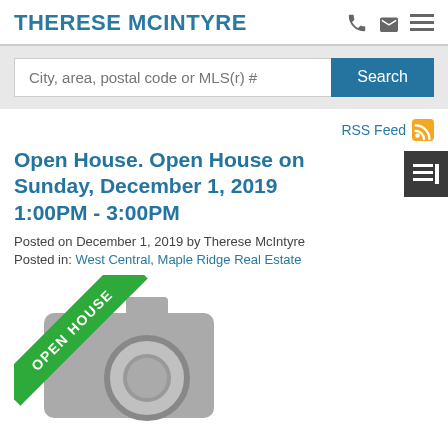THERESE MCINTYRE
[Figure (screenshot): Search bar with placeholder text 'City, area, postal code or MLS(r) #' and a teal Search button]
RSS Feed
Open House. Open House on Sunday, December 1, 2019 1:00PM - 3:00PM
Posted on December 1, 2019 by Therese McIntyre
Posted in: West Central, Maple Ridge Real Estate
[Figure (photo): Open House banner with a camera icon placeholder image and a green diagonal ribbon reading OPEN HOUSE]